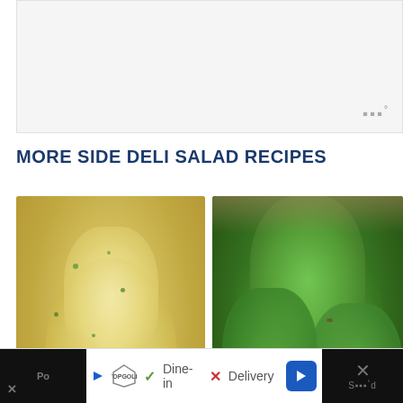[Figure (other): Gray advertisement banner placeholder with Moat measurement icon in bottom right]
MORE SIDE DELI SALAD RECIPES
[Figure (photo): Creamy potato salad with chives in a white bowl, close-up shot]
[Figure (photo): Broccoli salad with bacon bits and dressing in a white bowl, with heart favorite button and search button overlaid]
[Figure (other): Advertisement banner at bottom: Topgolf ad showing Dine-in checkmark and Delivery X marks, with navigation arrow and close button]